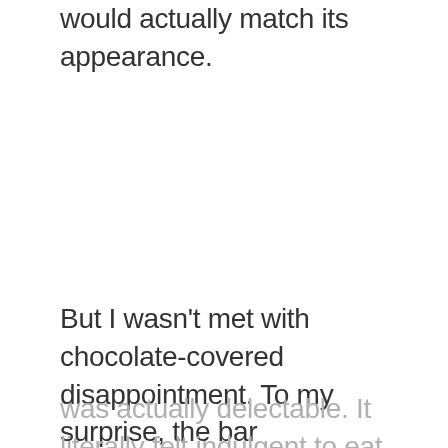would actually match its appearance.
But I wasn't met with chocolate-covered disappointment. To my surprise, the bar
was actually delectable. It literally felt indulgent to eat. And, with 15 flavors